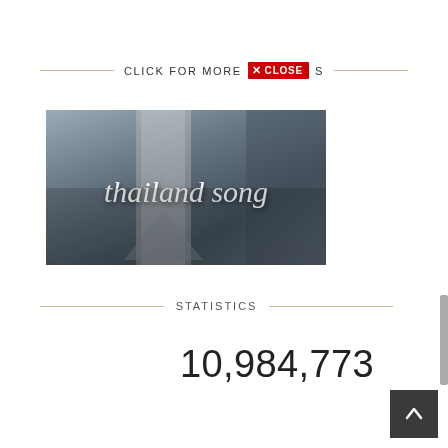CLICK FOR MORE × CLOSES
[Figure (photo): Dark thumbnail image with cursive white text reading 'thailand song' overlaid on a blurred architectural background]
STATISTICS
10,984,773